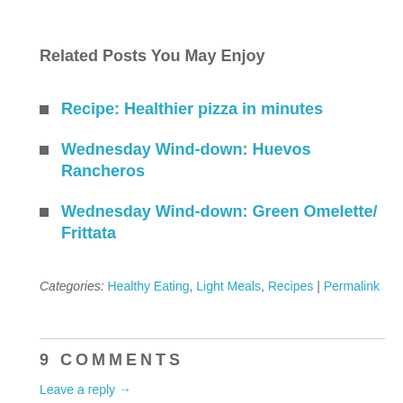Related Posts You May Enjoy
Recipe: Healthier pizza in minutes
Wednesday Wind-down: Huevos Rancheros
Wednesday Wind-down: Green Omelette/ Frittata
Categories: Healthy Eating, Light Meals, Recipes | Permalink
9 COMMENTS
Leave a reply →